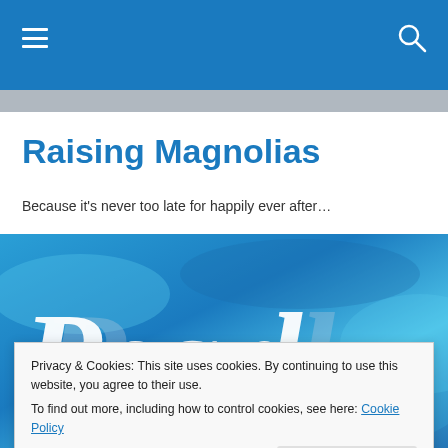Raising Magnolias — navigation bar with hamburger menu and search icon
Raising Magnolias
Because it's never too late for happily ever after…
[Figure (illustration): Decorative banner image with the word 'Pearl' written in white italic script on a blue/teal water-like background with silver letter outlines]
Privacy & Cookies: This site uses cookies. By continuing to use this website, you agree to their use.
To find out more, including how to control cookies, see here: Cookie Policy
Close and accept